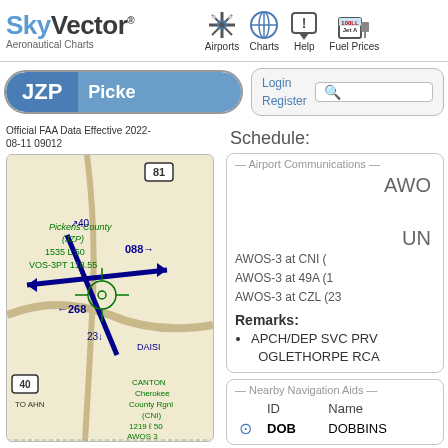SkyVector Aeronautical Charts — Airports, Charts, Help, Fuel Prices
JZP  Picke
Login  Register
Official FAA Data Effective 2022-08-11 09012
[Figure (map): VFR aeronautical chart excerpt showing Pickens County (JZP) airport at 1535 L 50, AVOS-3PT 118.55, with runway headings 268/088, 40/231, and nearby Canton Cherokee County Rgnl (CNI) at 1219 L 50, AWOS-3, roads to AHN, waypoint DAISI.]
Schedule:
Airport Communications
AWO
UN
AWOS-3 at CNI (
AWOS-3 at 49A (1
AWOS-3 at CZL (23
Remarks:
APCH/DEP SVC PRV OGLETHORPE RCA
Nearby Navigation Aids
| ID | Name |
| --- | --- |
| DOB | DOBBINS |
DOB  DOBBINS